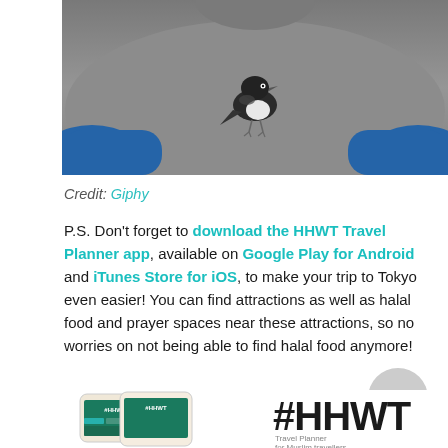[Figure (photo): Person wearing a grey heather t-shirt with a bird (magpie) print on the chest, arms crossed behind back, wearing blue sleeves/jacket underneath]
Credit: Giphy
P.S. Don't forget to download the HHWT Travel Planner app, available on Google Play for Android and iTunes Store for iOS, to make your trip to Tokyo even easier! You can find attractions as well as halal food and prayer spaces near these attractions, so no worries on not being able to find halal food anymore!
[Figure (screenshot): HHWT Travel Planner app shown on two smartphones side by side, with #HHWT logo and 'Travel Planner for Muslim travellers' text]